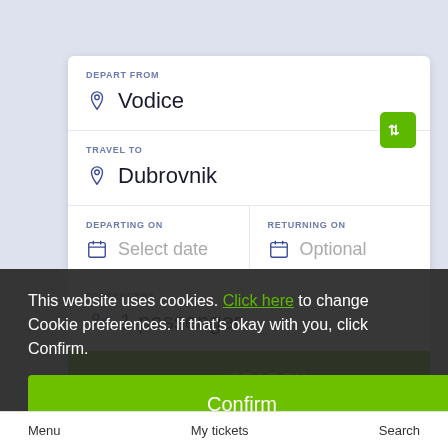DEPART FROM
Vodice
TRAVEL TO
Dubrovnik
DEPARTING ON
Select date
RETURNING ON
Optional
PASSENGERS
1 passenger
SEARCH
This website uses cookies. Click here to change Cookie preferences. If that's okay with you, click Confirm.
Confirm
Menu   My tickets   Search